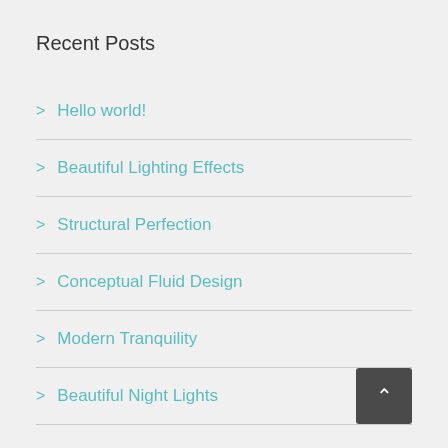Recent Posts
Hello world!
Beautiful Lighting Effects
Structural Perfection
Conceptual Fluid Design
Modern Tranquility
Beautiful Night Lights